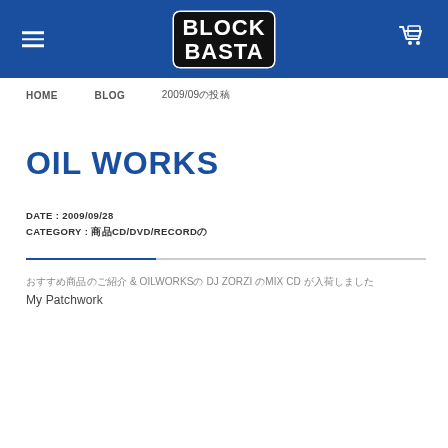BLOCK BASTA
HOME   BLOG   2009/09の投稿
OIL WORKS
DATE : 2009/09/28
CATEGORY : 商品CD/DVD/RECORDの
おすすめ商品のご紹介 & OILWORKSの DJ ZORZI のMIX CD が入荷しました
My Patchwork